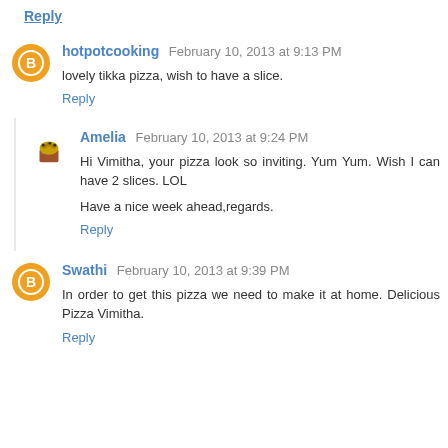Reply
hotpotcooking February 10, 2013 at 9:13 PM
lovely tikka pizza, wish to have a slice.
Reply
Amelia February 10, 2013 at 9:24 PM
Hi Vimitha, your pizza look so inviting. Yum Yum. Wish I can have 2 slices. LOL
Have a nice week ahead,regards.
Reply
Swathi February 10, 2013 at 9:39 PM
In order to get this pizza we need to make it at home. Delicious Pizza Vimitha.
Reply